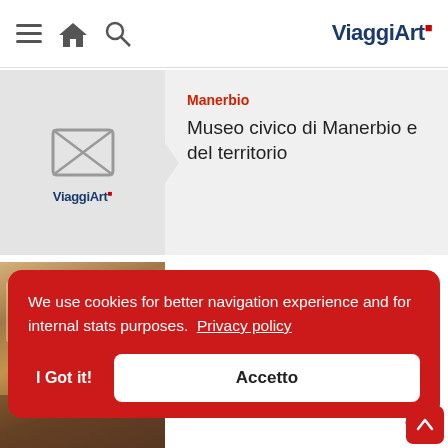ViaggiArt navigation header with hamburger menu, home, search icons and ViaggiArt logo
[Figure (screenshot): ViaggiArt placeholder logo image for Manerbio card]
Manerbio
Museo civico di Manerbio e del territorio
[Figure (photo): Interior room photo showing chandelier, wooden furniture, and parquet floor for San Rocco al Porto card]
San Rocco al Porto
Museo archivio del teatro di Piacenza
We use cookies for better navigation experience and for internal stats purposes.  Privacy policy
I Got it!
Accetto
alle